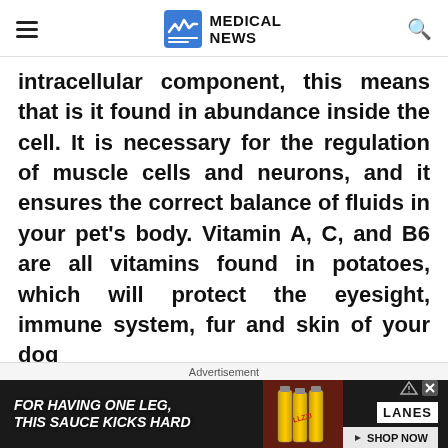MEDICAL NEWS
intracellular component, this means that is it found in abundance inside the cell. It is necessary for the regulation of muscle cells and neurons, and it ensures the correct balance of fluids in your pet's body. Vitamin A, C, and B6 are all vitamins found in potatoes, which will protect the eyesight, immune system, fur and skin of your dog
Advertisement
[Figure (photo): Advertisement banner for Lane's BBQ sauce product with text 'FOR HAVING ONE LEG, THIS SAUCE KICKS HARD' and a 'SHOP NOW' button]